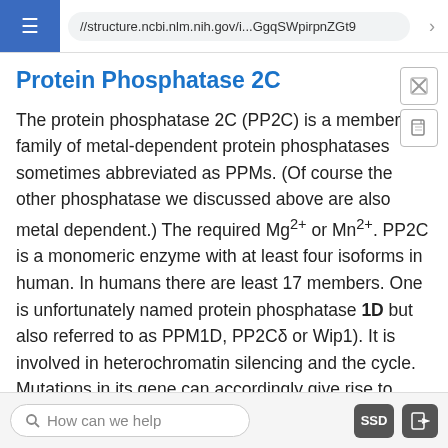//structure.ncbi.nlm.nih.gov/i...GgqSWpirpnZGt9
Protein Phosphatase 2C
The protein phosphatase 2C (PP2C) is a member of family of metal-dependent protein phosphatases sometimes abbreviated as PPMs. (Of course the other phosphatase we discussed above are also metal dependent.) The required Mg2+ or Mn2+. PP2C is a monomeric enzyme with at least four isoforms in human. In humans there are least 17 members. One is unfortunately named protein phosphatase 1D but also referred to as PPM1D, PP2Cδ or Wip1). It is involved in heterochromatin silencing and the cycle. Mutations in its gene can accordingly give rise to tumors.
How can we help